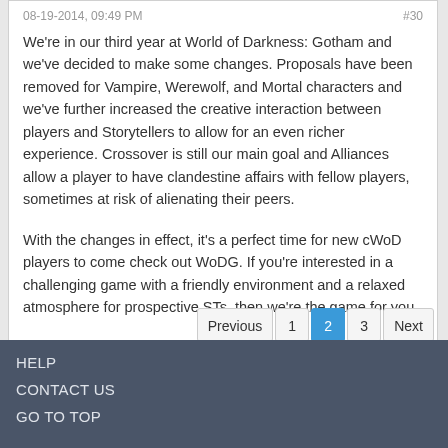08-19-2014, 09:49 PM    #30
We're in our third year at World of Darkness: Gotham and we've decided to make some changes. Proposals have been removed for Vampire, Werewolf, and Mortal characters and we've further increased the creative interaction between players and Storytellers to allow for an even richer experience. Crossover is still our main goal and Alliances allow a player to have clandestine affairs with fellow players, sometimes at risk of alienating their peers.
With the changes in effect, it's a perfect time for new cWoD players to come check out WoDG. If you're interested in a challenging game with a friendly environment and a relaxed atmosphere for prospective STs, then we're the game for you.
www.wodgotham.com
Previous  1  2  3  Next
HELP
CONTACT US
GO TO TOP